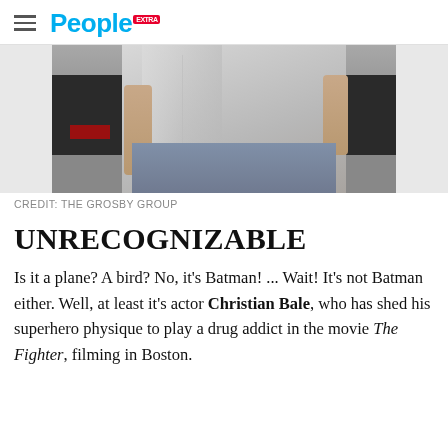People
[Figure (photo): Photo of a thin man in a white linen shirt and jeans, torso and arms visible, standing outdoors near a dark vehicle]
CREDIT: THE GROSBY GROUP
UNRECOGNIZABLE
Is it a plane? A bird? No, it's Batman! ... Wait! It's not Batman either. Well, at least it's actor Christian Bale, who has shed his superhero physique to play a drug addict in the movie The Fighter, filming in Boston.